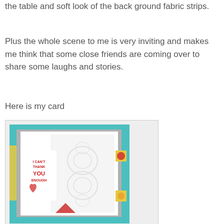the table and soft look of the back ground fabric strips.
Plus the whole scene to me is very inviting and makes me think that some close friends are coming over to share some laughs and stories.
Here is my card
[Figure (photo): Handmade greeting card with teal background, white embossed panel, stamped text reading 'I CAN'T THANK YOU ENOUGH' with a red heart, yellow fabric strip accents on left side, small yellow floral squares on right side, and a red decorative element at bottom.]